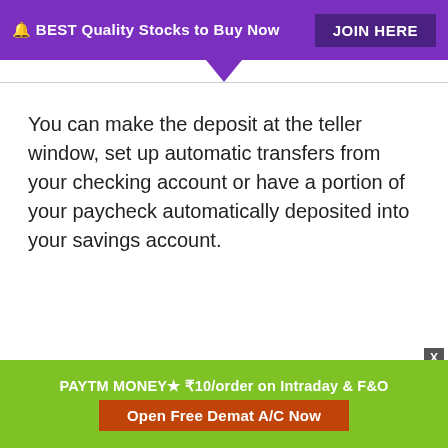🔔 BEST Quality Stocks to Buy Now   JOIN HERE
You can make the deposit at the teller window, set up automatic transfers from your checking account or have a portion of your paycheck automatically deposited into your savings account.
PAYTM MONEY★ ₹10/order on Intraday & F&O   Open Free Demat A/C Now